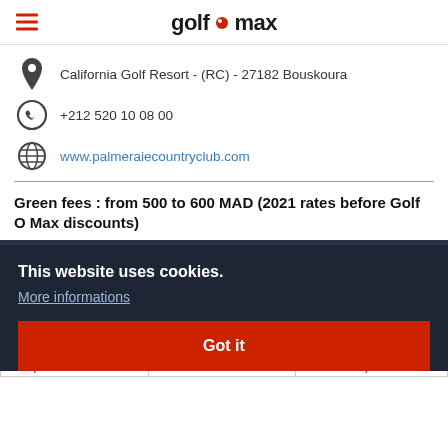golf o max
California Golf Resort - (RC) - 27182 Bouskoura
+212 520 10 08 00
www.palmeraiecountryclub.com
Green fees : from 500 to 600 MAD (2021 rates before Golf O Max discounts)
This website uses cookies.
More informations
Got it
|  | 022 |  |
|  | g |  |
|  | s) |  |
|  | 022 |  |
|  | g |  |
| holes) |  | tournaments) |